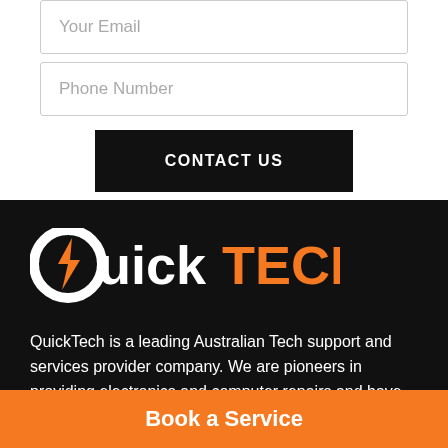Your Email
Phone Number
CONTACT US
[Figure (logo): QuickTECH logo with a Q containing a lightning bolt, white text 'Quick' and orange text 'TECH' on black background]
QuickTech is a leading Australian Tech support and services provider company. We are pioneers in providing electronics and computer repairs and have established ourselves in the market
Book a Service